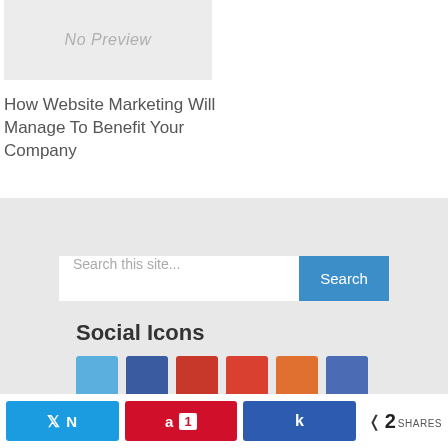[Figure (screenshot): No Preview placeholder image box with light gray background]
How Website Marketing Will Manage To Benefit Your Company
Search this site...
Social Icons
[Figure (screenshot): Row of social media icon buttons: Twitter (blue), Facebook (dark blue), Google+ (red), Google+ (red), StumbleUpon (orange), unknown (blue)]
N  a  1  k  <  2 SHARES